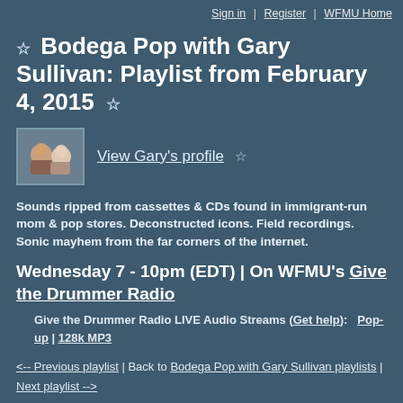Sign in | Register | WFMU Home
☆ Bodega Pop with Gary Sullivan: Playlist from February 4, 2015 ☆
[Figure (photo): Small thumbnail photo of Gary Sullivan showing two figures, used as profile image]
View Gary's profile ☆
Sounds ripped from cassettes & CDs found in immigrant-run mom & pop stores. Deconstructed icons. Field recordings. Sonic mayhem from the far corners of the internet.
Wednesday 7 - 10pm (EDT) | On WFMU's Give the Drummer Radio
Give the Drummer Radio LIVE Audio Streams (Get help): Pop-up | 128k MP3
<-- Previous playlist | Back to Bodega Pop with Gary Sullivan playlists | Next playlist -->
☆ February 4, 2015: Poor But Sexy
Taking Agata Pyzik's brilliant book on neoliberalism, art...